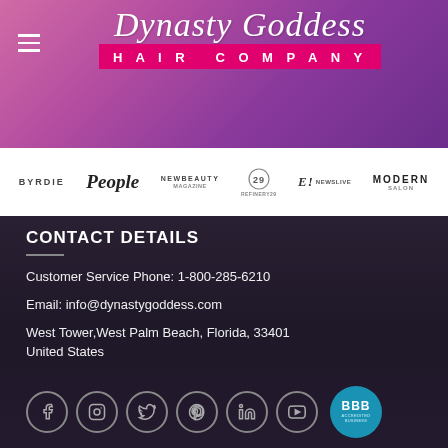[Figure (logo): Dynasty Goddess Hair Company logo with script text and pink bar]
[Figure (logo): Press logos bar: BYRDIE, People, NEWBEAUTY, REFINERY29, E! NEWSLIVE, MODERN SALON]
CONTACT DETAILS
Customer Service Phone: 1-800-285-6210
Email: info@dynastygoddess.com
West Tower,West Palm Beach, Florida, 33401
United States
[Figure (logo): Social media icons: Facebook, Instagram, Twitter, Pinterest, LinkedIn, YouTube; BBB Accredited Business badge]